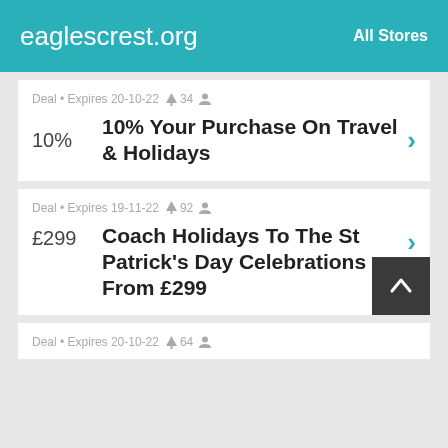eaglescrest.org   All Stores
Deal • Expires 20-10-22 🔔 34 👤
10%   10% Your Purchase On Travel & Holidays
Deal • Expires 19-11-22 🔔 92 👤
£299   Coach Holidays To The St Patrick's Day Celebrations From £299
Deal • Expires 20-10-22 🔔 64 👤